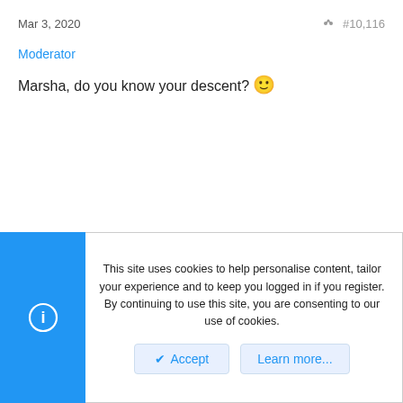Mar 3, 2020   #10,116
Moderator
Marsha, do you know your descent? 🙂
This site uses cookies to help personalise content, tailor your experience and to keep you logged in if you register. By continuing to use this site, you are consenting to our use of cookies.
Accept   Learn more...